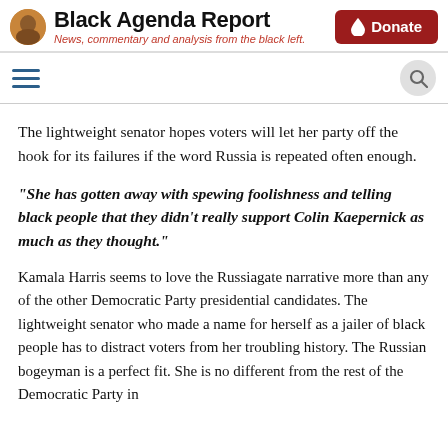Black Agenda Report — News, commentary and analysis from the black left.
The lightweight senator hopes voters will let her party off the hook for its failures if the word Russia is repeated often enough.
“She has gotten away with spewing foolishness and telling black people that they didn’t really support Colin Kaepernick as much as they thought.”
Kamala Harris seems to love the Russiagate narrative more than any of the other Democratic Party presidential candidates. The lightweight senator who made a name for herself as a jailer of black people has to distract voters from her troubling history. The Russian bogeyman is a perfect fit. She is no different from the rest of the Democratic Party in